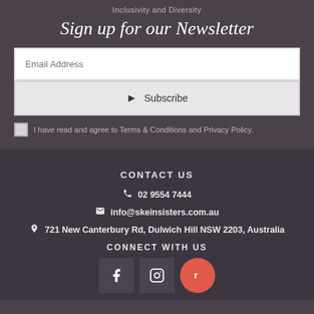Inclusivity and Diversity
Sign up for our Newsletter
Email Address
Subscribe
I have read and agree to Terms & Conditions and Privacy Policy.
CONTACT US
02 9554 7444
info@skeinsisters.com.au
721 New Canterbury Rd, Dulwich Hill NSW 2203, Australia
CONNECT WITH US
[Figure (infographic): Social media icons: Facebook, Instagram, and a red circular icon with letter r]